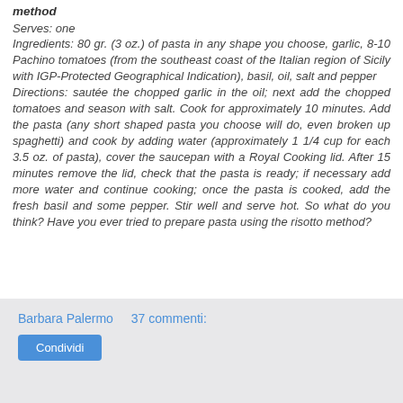method
Serves: one
Ingredients: 80 gr. (3 oz.) of pasta in any shape you choose, garlic, 8-10 Pachino tomatoes (from the southeast coast of the Italian region of Sicily with IGP-Protected Geographical Indication), basil, oil, salt and pepper
Directions: sautée the chopped garlic in the oil; next add the chopped tomatoes and season with salt. Cook for approximately 10 minutes. Add the pasta (any short shaped pasta you choose will do, even broken up spaghetti) and cook by adding water (approximately 1 1/4 cup for each 3.5 oz. of pasta), cover the saucepan with a Royal Cooking lid. After 15 minutes remove the lid, check that the pasta is ready; if necessary add more water and continue cooking; once the pasta is cooked, add the fresh basil and some pepper. Stir well and serve hot. So what do you think? Have you ever tried to prepare pasta using the risotto method?
Barbara Palermo    37 commenti:
Condividi